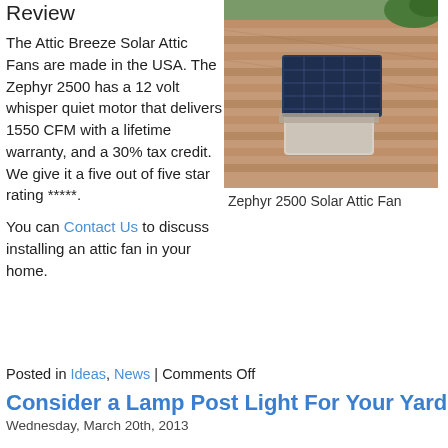Review
The Attic Breeze Solar Attic Fans are made in the USA. The Zephyr 2500 has a 12 volt whisper quiet motor that delivers 1550 CFM with a lifetime warranty, and a 30% tax credit. We give it a five out of five star rating *****.
[Figure (photo): Photo of Zephyr 2500 Solar Attic Fan installed on a brown shingle roof, with solar panel visible on top of the unit]
Zephyr 2500 Solar Attic Fan
You can Contact Us to discuss installing an attic fan in your home.
Posted in Ideas, News | Comments Off
Consider a Lamp Post Light For Your Yard
Wednesday, March 20th, 2013